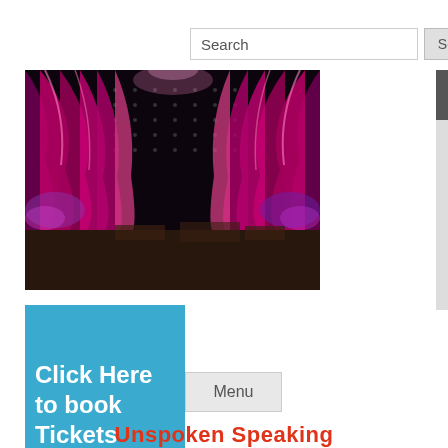Search
[Figure (photo): A theater or concert stage with dramatic pink/magenta draped curtains illuminated by bright spotlights, dark audience area in foreground.]
Click Here to book Tickets
Menu
Unspoken Speaking